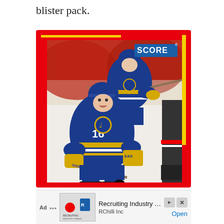blister pack.
[Figure (photo): A Score brand NHL hockey trading card featuring St. Louis Blues players in blue and gold jerseys skating on ice. Player #16 is prominently in the foreground. The card has a red border with yellow accent bars and the Score logo in the upper right corner of the card.]
Ad  Recruiting Industry Trends  RChilli Inc  Open